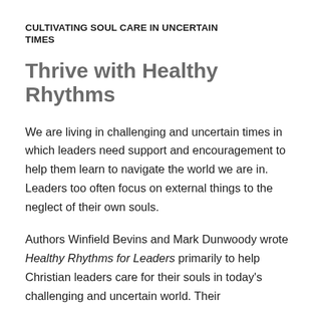CULTIVATING SOUL CARE IN UNCERTAIN TIMES
Thrive with Healthy Rhythms
We are living in challenging and uncertain times in which leaders need support and encouragement to help them learn to navigate the world we are in. Leaders too often focus on external things to the neglect of their own souls.
Authors Winfield Bevins and Mark Dunwoody wrote Healthy Rhythms for Leaders primarily to help Christian leaders care for their souls in today's challenging and uncertain world. Their...